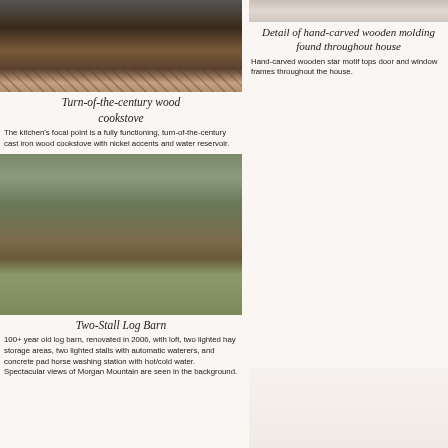[Figure (photo): Turn-of-the-century cast iron wood cookstove on patterned floor with colorful rug]
Turn-of-the-century wood cookstove
The kitchen's focal point is a fully functioning, turn-of-the-century cast iron wood cookstove with nickel accents and water reservoir.
[Figure (photo): Detail of hand-carved wooden molding]
Detail of hand-carved wooden molding found throughout house
Hand-carved wooden star motif tops door and window frames throughout the house.
[Figure (photo): Two-stall log barn in a field with Morgan Mountain in background, autumn trees]
Two-Stall Log Barn
100+ year old log barn, renovated in 2006, with loft, two lighted hay storage areas, two lighted stalls with automatic waterers, and concrete pad horse washing station with hot/cold water. Spectacular views of Morgan Mountain are seen in the background.